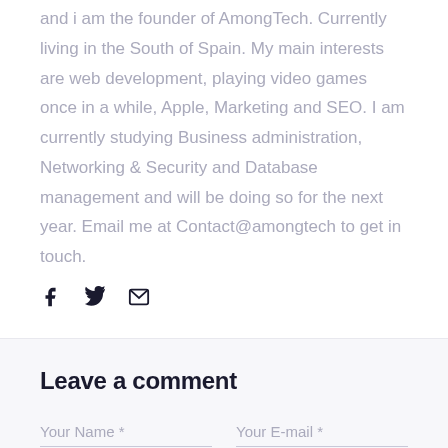and i am the founder of AmongTech. Currently living in the South of Spain. My main interests are web development, playing video games once in a while, Apple, Marketing and SEO. I am currently studying Business administration, Networking & Security and Database management and will be doing so for the next year. Email me at Contact@amongtech to get in touch.
[Figure (other): Social media icons: Facebook (f), Twitter (bird), Email (envelope)]
Leave a comment
Your Name *
Your E-mail *
Your comment *